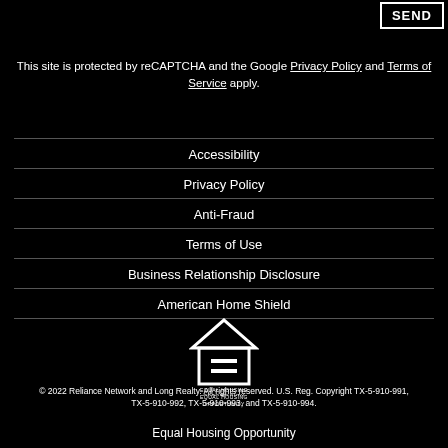SEND
This site is protected by reCAPTCHA and the Google Privacy Policy and Terms of Service apply.
Accessibility
Privacy Policy
Anti-Fraud
Terms of Use
Business Relationship Disclosure
American Home Shield
[Figure (logo): Equal Housing Opportunity logo — house outline with an equal sign inside, and text 'EQUAL HOUSING OPPORTUNITY' below]
© 2022 Reliance Network and Long Realty. All rights reserved. U.S. Reg. Copyright TX-5-910-991, TX-5-910-992, TX-5-910-993, and TX-5-910-994.
Equal Housing Opportunity